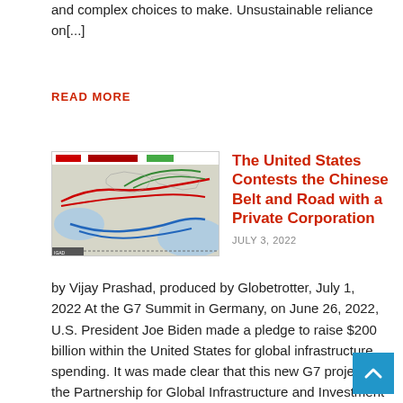and complex choices to make. Unsustainable reliance on[...]
READ MORE
[Figure (map): Map showing Belt and Road routes across Asia and Europe, with red, green, and blue route lines overlaid on a geographic map.]
The United States Contests the Chinese Belt and Road with a Private Corporation
JULY 3, 2022
by Vijay Prashad, produced by Globetrotter, July 1, 2022 At the G7 Summit in Germany, on June 26, 2022, U.S. President Joe Biden made a pledge to raise $200 billion within the United States for global infrastructure spending. It was made clear that this new G7 project the Partnership for Global Infrastructure and Investment